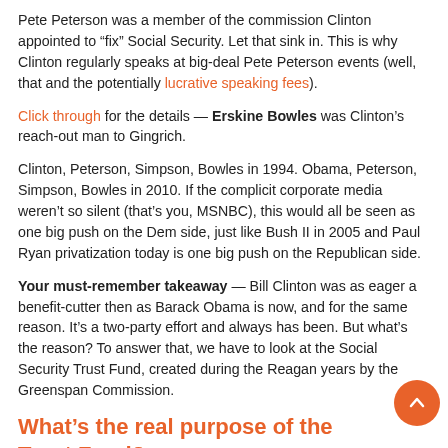Pete Peterson was a member of the commission Clinton appointed to “fix” Social Security. Let that sink in. This is why Clinton regularly speaks at big-deal Pete Peterson events (well, that and the potentially lucrative speaking fees).
Click through for the details — Erskine Bowles was Clinton’s reach-out man to Gingrich.
Clinton, Peterson, Simpson, Bowles in 1994. Obama, Peterson, Simpson, Bowles in 2010. If the complicit corporate media weren’t so silent (that’s you, MSNBC), this would all be seen as one big push on the Dem side, just like Bush II in 2005 and Paul Ryan privatization today is one big push on the Republican side.
Your must-remember takeaway — Bill Clinton was as eager a benefit-cutter then as Barack Obama is now, and for the same reason. It’s a two-party effort and always has been. But what’s the reason? To answer that, we have to look at the Social Security Trust Fund, created during the Reagan years by the Greenspan Commission.
What’s the real purpose of the Trust Fund?